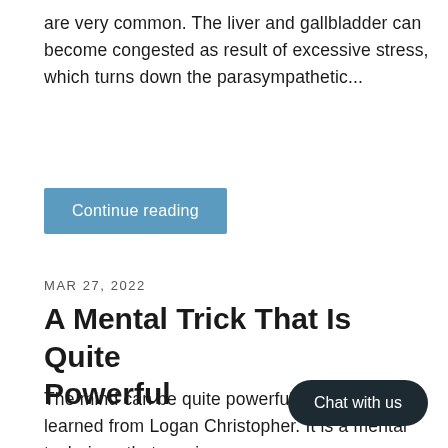are very common. The liver and gallbladder can become congested as result of excessive stress, which turns down the parasympathetic...
Continue reading
MAR 27, 2022
A Mental Trick That Is Quite Powerful
The mind can be quite powerful. Here is a trick I learned from Logan Christopher. It is a mental technique that can increase you... The way to do it is by visualizing. If ... object, say...
Chat with us